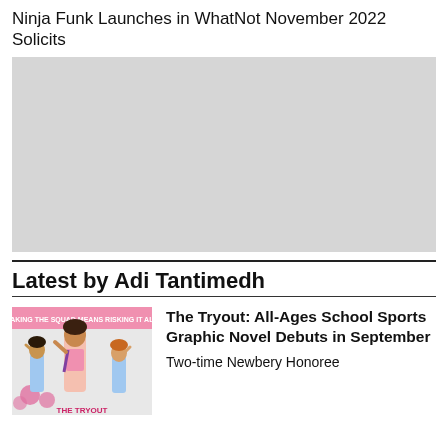Ninja Funk Launches in WhatNot November 2022 Solicits
[Figure (other): Large grey placeholder image block]
Latest by Adi Tantimedh
[Figure (illustration): Book cover thumbnail for The Tryout graphic novel showing cartoon children in a cheerleading/sports scene]
The Tryout: All-Ages School Sports Graphic Novel Debuts in September
Two-time Newbery Honoree